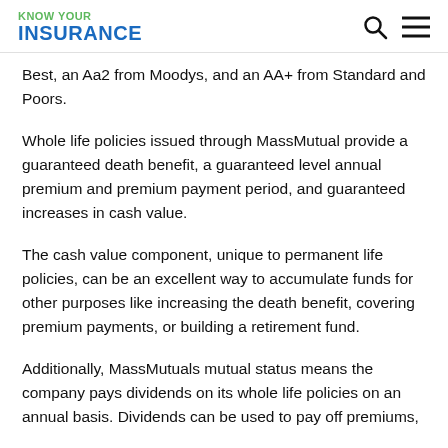KNOW YOUR INSURANCE
Best, an Aa2 from Moodys, and an AA+ from Standard and Poors.
Whole life policies issued through MassMutual provide a guaranteed death benefit, a guaranteed level annual premium and premium payment period, and guaranteed increases in cash value.
The cash value component, unique to permanent life policies, can be an excellent way to accumulate funds for other purposes like increasing the death benefit, covering premium payments, or building a retirement fund.
Additionally, MassMutuals mutual status means the company pays dividends on its whole life policies on an annual basis. Dividends can be used to pay off premiums,